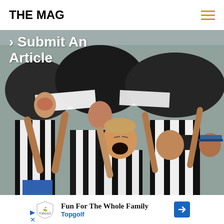THE MAG
[Figure (photo): Crowd of Newcastle United football fans in black and white striped jerseys, cheering and singing in the stands. One fan in the foreground has his mouth wide open. A 'northern rock' sponsor logo is visible on one jersey.]
> Submit An Article
[Figure (infographic): Advertisement banner: Topgolf logo with text 'Fun For The Whole Family' and 'Topgolf' in blue, with a blue diamond-shaped arrow icon on the right.]